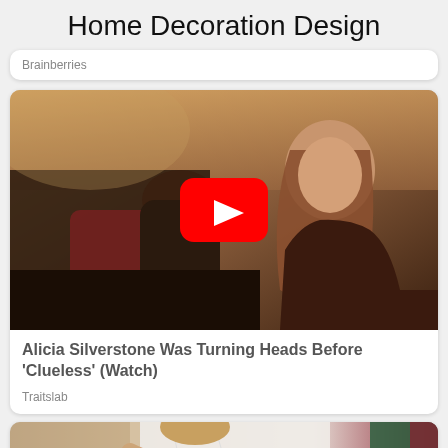Home Decoration Design
Brainberries
[Figure (screenshot): Video thumbnail showing two women in a car scene with a YouTube play button overlay]
Alicia Silverstone Was Turning Heads Before 'Clueless' (Watch)
Traitslab
[Figure (photo): Partial photo of a woman in a white top with arms crossed, partially cropped at bottom of page]